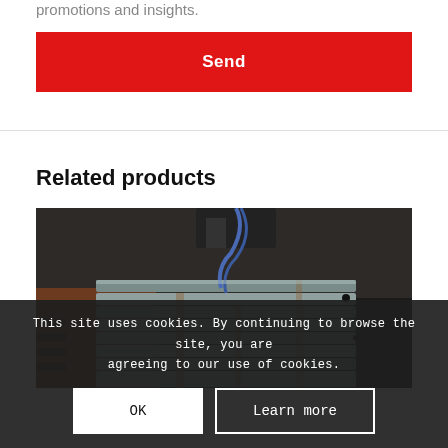promotions and insights.
Send
Related products
[Figure (photo): Close-up photo of an industrial electric motor showing corrugated metal windings and mechanical components, rusty and aged appearance.]
This site uses cookies. By continuing to browse the site, you are agreeing to our use of cookies.
OK
Learn more